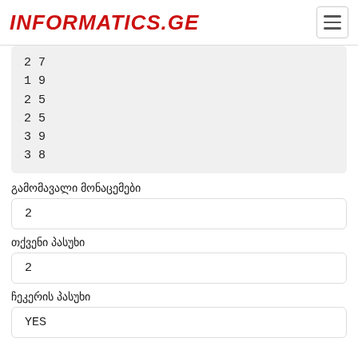INFORMATICS.GE
2 7
1 9
2 5
2 5
3 9
3 8
გამომავალი მონაცემები
2
თქვენი პასუხი
2
ჩეკერის პასუხი
YES